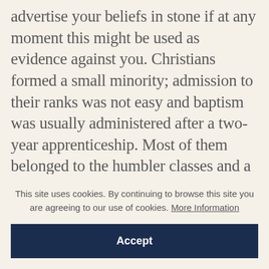advertise your beliefs in stone if at any moment this might be used as evidence against you. Christians formed a small minority; admission to their ranks was not easy and baptism was usually administered after a two-year apprenticeship. Most of them belonged to the humbler classes and a majority may have been women, although Pliny, writing to Trajan, had already noted that they were 'of every age, rank and sex'. They offered an alternative society open on terms of spiritual equality to all. In the middle of the third century
This site uses cookies. By continuing to browse this site you are agreeing to our use of cookies. More Information
Accept